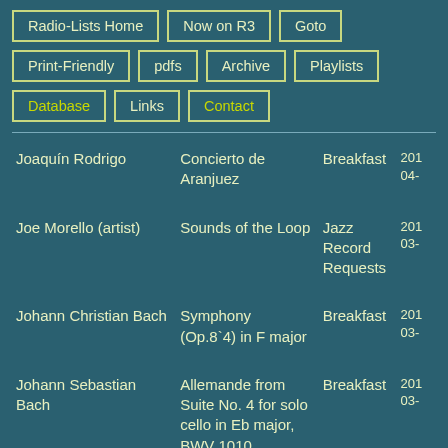Radio-Lists Home
Now on R3
Goto
Print-Friendly
pdfs
Archive
Playlists
Database
Links
Contact
| Composer | Piece | Show | Date |
| --- | --- | --- | --- |
| Joaquín Rodrigo | Concierto de Aranjuez | Breakfast | 201
04- |
| Joe Morello (artist) | Sounds of the Loop | Jazz Record Requests | 201
03- |
| Johann Christian Bach | Symphony (Op.8`4) in F major | Breakfast | 201
03- |
| Johann Sebastian Bach | Allemande from Suite No. 4 for solo cello in Eb major, BWV 1010 | Breakfast | 201
03- |